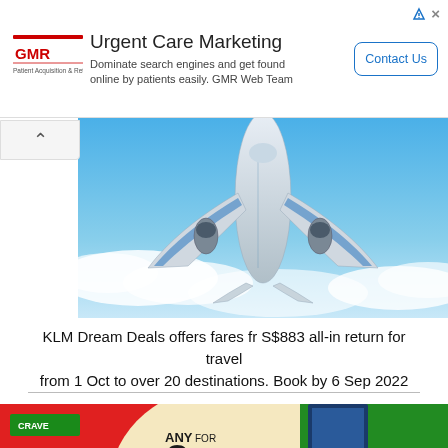[Figure (screenshot): Advertisement banner for GMR Web Team Urgent Care Marketing. Contains GMR logo, headline 'Urgent Care Marketing', subtext 'Dominate search engines and get found online by patients easily. GMR Web Team', and a 'Contact Us' button.]
[Figure (photo): KLM airplane photographed from below against blue sky with clouds, showing the underside of the aircraft with its engines and wings.]
KLM Dream Deals offers fares fr S$883 all-in return for travel from 1 Oct to over 20 destinations. Book by 6 Sep 2022
[Figure (photo): Crave restaurant promotion showing 'Buddy Meal Any 2 for $11' advertisement on the left with food images, and Crave Nasi Lemak Padang restaurant signage on the right.]